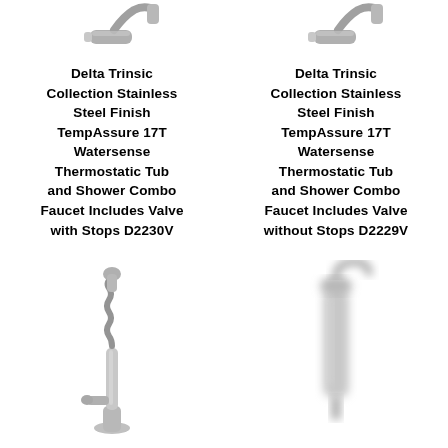[Figure (photo): Top view of a tub spout faucet in stainless steel finish, left product]
Delta Trinsic Collection Stainless Steel Finish TempAssure 17T Watersense Thermostatic Tub and Shower Combo Faucet Includes Valve with Stops D2230V
[Figure (photo): Top view of a tub spout faucet in stainless steel finish, right product]
Delta Trinsic Collection Stainless Steel Finish TempAssure 17T Watersense Thermostatic Tub and Shower Combo Faucet Includes Valve without Stops D2229V
[Figure (photo): Pull-down kitchen faucet with spring neck in stainless steel finish]
[Figure (photo): Hand shower or side sprayer in blurred stainless steel finish]